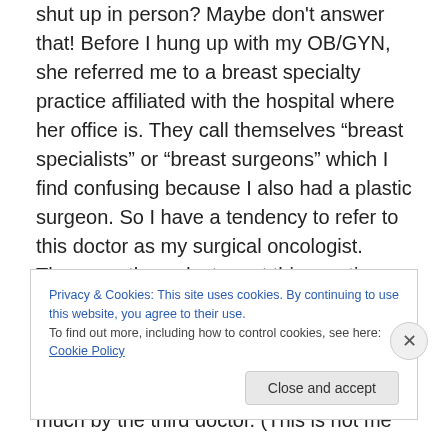shut up in person?  Maybe don't answer that! Before I hung up with my OB/GYN, she referred me to a breast specialty practice affiliated with the hospital where her office is.  They call themselves “breast specialists” or “breast surgeons” which I find confusing because I also had a plastic surgeon.  So I have a tendency to refer to this doctor as my surgical oncologist.  There are three doctors at this practice, and my OB/GYN recommended either of two of them based on her patients’ experience and preference for a certain type of bedside manner not shared as much by the third doctor.  (This is not me
Privacy & Cookies: This site uses cookies. By continuing to use this website, you agree to their use.
To find out more, including how to control cookies, see here: Cookie Policy